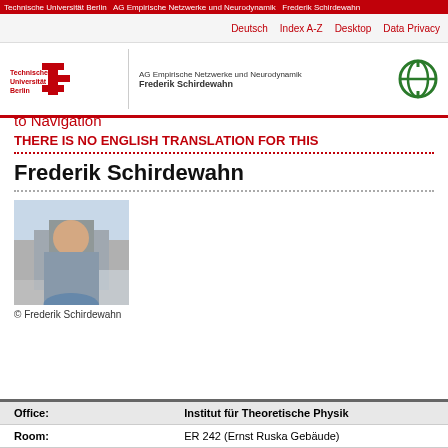Technische Universität Berlin — AG Empirische Netzwerke und Neurodynamik — Frederik Schirdewahn
Deutsch   Index A-Z   Desktop   Data Privacy
to Navigation
THERE IS NO ENGLISH TRANSLATION FOR THIS
Frederik Schirdewahn
[Figure (photo): Photo of Frederik Schirdewahn outdoors, with buildings in background]
© Frederik Schirdewahn
| Office: | Institut für Theoretische Physik |
| --- | --- |
| Room: | ER 242 (Ernst Ruska Gebäude) |